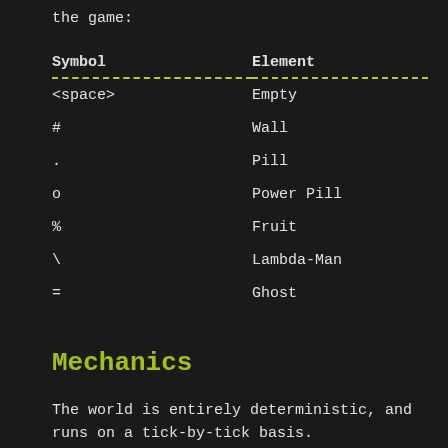the game:
| Symbol | Element |
| --- | --- |
| <space> | Empty |
| # | Wall |
| . | Pill |
| o | Power Pill |
| % | Fruit |
| \ | Lambda-Man |
| = | Ghost |
Mechanics
The world is entirely deterministic, and runs on a tick-by-tick basis.